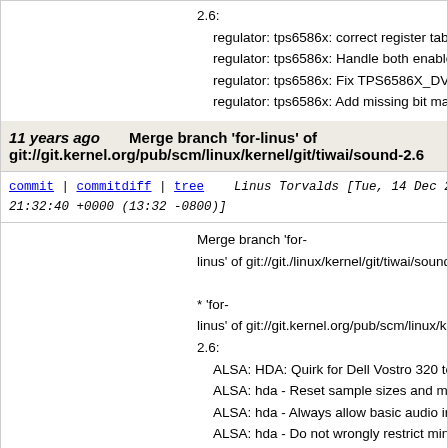2.6:
regulator: tps6586x: correct register table
regulator: tps6586x: Handle both enable reg/bits
regulator: tps6586x: Fix TPS6586X_DVM to stor
regulator: tps6586x: Add missing bit mask genera
11 years ago   Merge branch 'for-linus' of git://git.kernel.org/pub/scm/linux/kernel/git/tiwai/sound-2.6
commit | commitdiff | tree   Linus Torvalds [Tue, 14 Dec 2010 21:32:40 +0000 (13:32 -0800)]
Merge branch 'for-linus' of git://git./linux/kernel/git/tiwai/sound-2.6
* 'for-linus' of git://git.kernel.org/pub/scm/linux/kernel/git/tiwai/sound-2.6:
ALSA: HDA: Quirk for Dell Vostro 320 to make m
ALSA: hda - Reset sample sizes and max bitrate
ALSA: hda - Always allow basic audio irrespectiv
ALSA: hda - Do not wrongly restrict min_channel
ASoC: Correct WM8962 interrupt mask register r
ASoC: WM8580: Debug BCLK and sample size
ASoC: Fix resource leak if soc_register_ac97_da
ASoC: Hold client_mutex while calling snd_soc_i
ASoC: Fix swap of left and right channels for WM
ASoC: Fix off by one error in WM8994 EQ registe
ALSA: hda: Use position_fix=1 for Acer Aspire 55
ALSA: hda - Enable jack sense for Thinkpad Edge